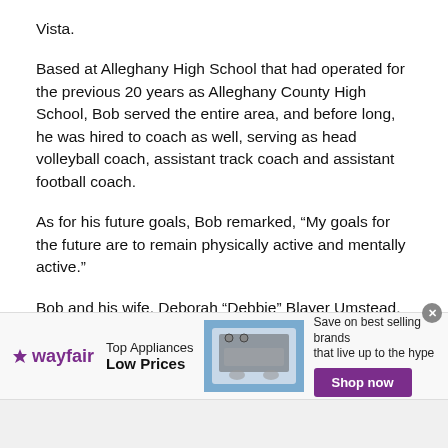Vista.
Based at Alleghany High School that had operated for the previous 20 years as Alleghany County High School, Bob served the entire area, and before long, he was hired to coach as well, serving as head volleyball coach, assistant track coach and assistant football coach.
As for his future goals, Bob remarked, “My goals for the future are to remain physically active and mentally active.”
Bob and his wife, Deborah “Debbie” Blayer Umstead, can be seen walking for exercise in Clifton Forge almost on a daily basis. Debbie is a graduate of Huron High School in Ann
[Figure (infographic): Wayfair advertisement banner: Top Appliances Low Prices, with image of appliances and Shop now button]